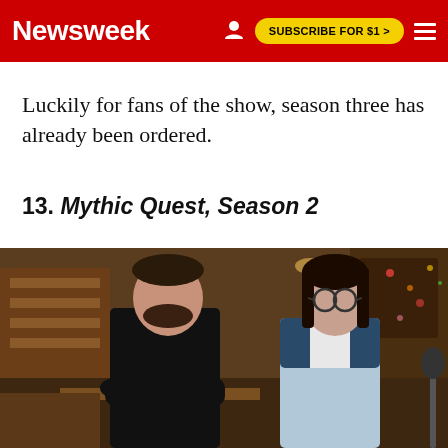Newsweek | SUBSCRIBE FOR $1 >
Luckily for fans of the show, season three has already been ordered.
13. Mythic Quest, Season 2
[Figure (photo): Two actors from Mythic Quest Season 2 standing in what appears to be an office/studio set. A man with crossed arms wearing a black long-sleeve shirt and a woman wearing glasses and a baseball-style shirt stand side by side with a serious expression.]